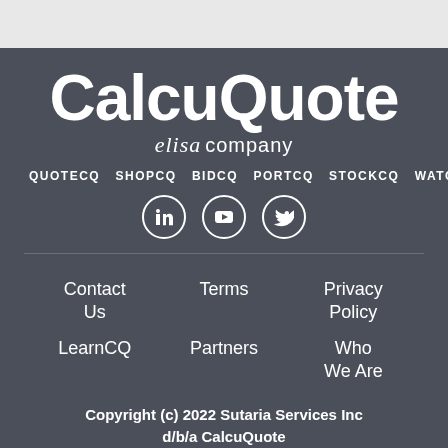[Figure (logo): CalcuQuote logo with 'elisa company' subtitle on dark gray background]
QUOTECQ  SHOPCQ  BIDCQ  PORTCQ  STOCKCQ  WATCHCQ(BETA)
[Figure (infographic): Three social media icons: LinkedIn, YouTube, Twitter in circular outlines]
Contact Us    Terms    Privacy Policy
LearnCQ    Partners    Who We Are
Copyright (c) 2022 Sutaria Services Inc d/b/a CalcuQuote